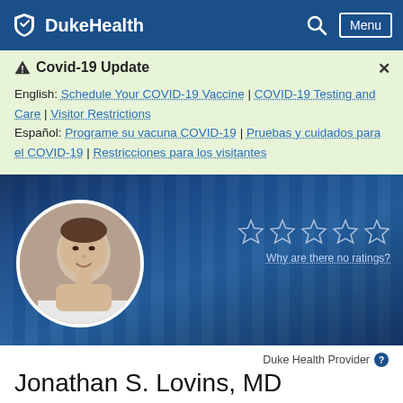DukeHealth — Menu
⚠ Covid-19 Update
English: Schedule Your COVID-19 Vaccine | COVID-19 Testing and Care | Visitor Restrictions
Español: Programe su vacuna COVID-19 | Pruebas y cuidados para el COVID-19 | Restricciones para los visitantes
[Figure (photo): Circular headshot photo of Dr. Jonathan S. Lovins, MD, a middle-aged man in a white coat, smiling, set against a deep blue background with vertical stripe pattern. Five empty star rating icons appear to the right with the text 'Why are there no ratings?' below.]
Duke Health Provider
Jonathan S. Lovins, MD
Hospital Medicine Specialist